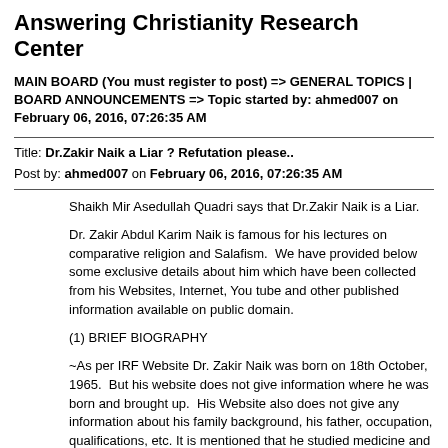Answering Christianity Research Center
MAIN BOARD (You must register to post) => GENERAL TOPICS | BOARD ANNOUNCEMENTS => Topic started by: ahmed007 on February 06, 2016, 07:26:35 AM
Title: Dr.Zakir Naik a Liar ? Refutation please..
Post by: ahmed007 on February 06, 2016, 07:26:35 AM
Shaikh Mir Asedullah Quadri says that Dr.Zakir Naik is a Liar.
Dr. Zakir Abdul Karim Naik is famous for his lectures on comparative religion and Salafism.  We have provided below some exclusive details about him which have been collected from his Websites, Internet, You tube and other published information available on public domain.
(1) BRIEF BIOGRAPHY
~As per IRF Website Dr. Zakir Naik was born on 18th October, 1965.  But his website does not give information where he was born and brought up.  His Website also does not give any information about his family background, his father, occupation, qualifications, etc. It is mentioned that he studied medicine and passed  Bachelors Degree in Medicine and Surgery (MBBS) from Topiwala National Medical College, Nair Hospital, Mumbai, India. But his website does not give details